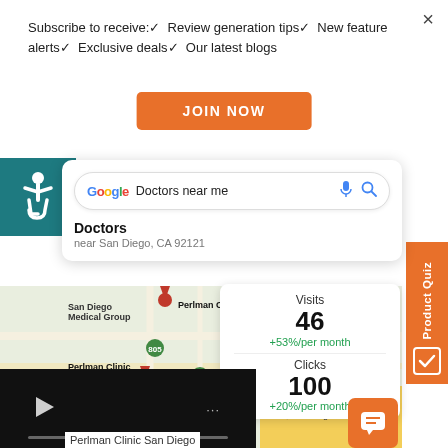Subscribe to receive:✓ Review generation tips✓ New feature alerts✓ Exclusive deals✓ Our latest blogs
JOIN NOW
[Figure (screenshot): Google search result screenshot showing 'Doctors near me' search with map of San Diego showing Perlman Clinic locations, with a stats overlay showing Visits: 46 +53%/per month, Clicks: 100 +20%/per month]
[Figure (other): Accessibility icon (wheelchair symbol) on teal background]
[Figure (other): Product Quiz orange tab on right side]
[Figure (other): Video thumbnail at bottom left]
Visits 46 +53%/per month Clicks 100 +20%/per month